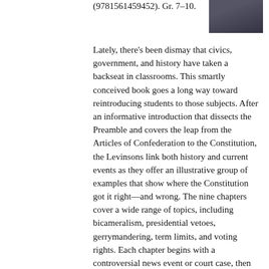(9781561459452). Gr. 7–10.
[Figure (photo): Small thumbnail image, dark background, top-right corner]
Lately, there's been dismay that civics, government, and history have taken a backseat in classrooms. This smartly conceived book goes a long way toward reintroducing students to those subjects. After an informative introduction that dissects the Preamble and covers the leap from the Articles of Confederation to the Constitution, the Levinsons link both history and current events as they offer an illustrative group of examples that show where the Constitution got it right—and wrong. The nine chapters cover a wide range of topics, including bicameralism, presidential vetoes, gerrymandering, term limits, and voting rights. Each chapter begins with a controversial news event or court case, then describes the framers' thinking on the topic. Although the font, charts, and well-written text make this appealing, it's not always an easy read. It is, however, an important one.